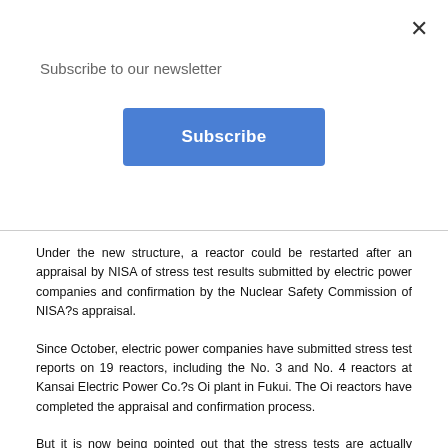Subscribe to our newsletter
Subscribe
Under the new structure, a reactor could be restarted after an appraisal by NISA of stress test results submitted by electric power companies and confirmation by the Nuclear Safety Commission of NISA?s appraisal.
Since October, electric power companies have submitted stress test reports on 19 reactors, including the No. 3 and No. 4 reactors at Kansai Electric Power Co.?s Oi plant in Fukui. The Oi reactors have completed the appraisal and confirmation process.
But it is now being pointed out that the stress tests are actually designed to calculate the safety leeway at nuclear reactors and do not constitute a